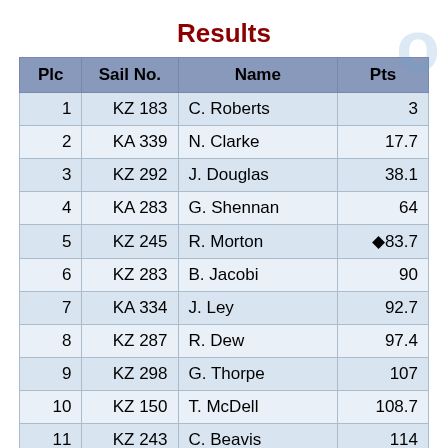Results
| Plc | Sail No. | Name | Pts |
| --- | --- | --- | --- |
| 1 | KZ 183 | C. Roberts | 3 |
| 2 | KA 339 | N. Clarke | 17.7 |
| 3 | KZ 292 | J. Douglas | 38.1 |
| 4 | KA 283 | G. Shennan | 64 |
| 5 | KZ 245 | R. Morton | ◆83.7 |
| 6 | KZ 283 | B. Jacobi | 90 |
| 7 | KA 334 | J. Ley | 92.7 |
| 8 | KZ 287 | R. Dew | 97.4 |
| 9 | KZ 298 | G. Thorpe | 107 |
| 10 | KZ 150 | T. McDell | 108.7 |
| 11 | KZ 243 | C. Beavis | 114 |
| 12 | KZ 174 | H. Bennett | 115 |